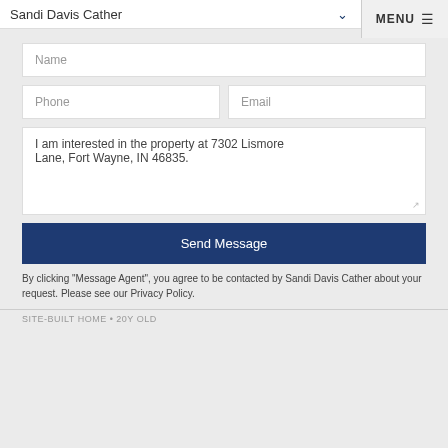Sandi Davis Cather  MENU
Name
Phone   Email
I am interested in the property at 7302 Lismore Lane, Fort Wayne, IN 46835.
Send Message
By clicking "Message Agent", you agree to be contacted by Sandi Davis Cather about your request. Please see our Privacy Policy.
SITE-BUILT HOME • 20Y OLD